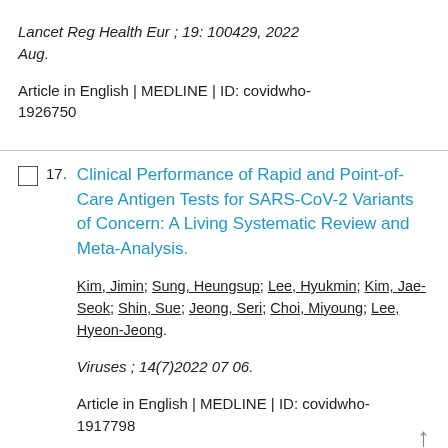Lancet Reg Health Eur ; 19: 100429, 2022 Aug.
Article in English | MEDLINE | ID: covidwho-1926750
Clinical Performance of Rapid and Point-of-Care Antigen Tests for SARS-CoV-2 Variants of Concern: A Living Systematic Review and Meta-Analysis.
Kim, Jimin; Sung, Heungsup; Lee, Hyukmin; Kim, Jae-Seok; Shin, Sue; Jeong, Seri; Choi, Miyoung; Lee, Hyeon-Jeong.
Viruses ; 14(7)2022 07 06.
Article in English | MEDLINE | ID: covidwho-1917798